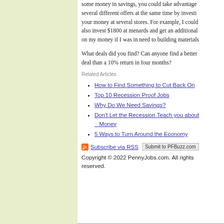some money in savings, you could take advantage of several different offers at the same time by investing your money at several stores. For example, I could also invest $1800 at menards and get an additional on my money if I was in need to building materials
What deals did you find? Can anyone find a better deal than a 10% return in four months?
Related Articles
How to Find Something to Cut Back On
Top 10 Recession Proof Jobs
Why Do We Need Savings?
Don't Let the Recession Teach you about Money
5 Ways to Turn Around the Economy
Subscribe via RSS  Submit to PFBuzz.com
Copyright © 2022 PennyJobs.com. All rights reserved.